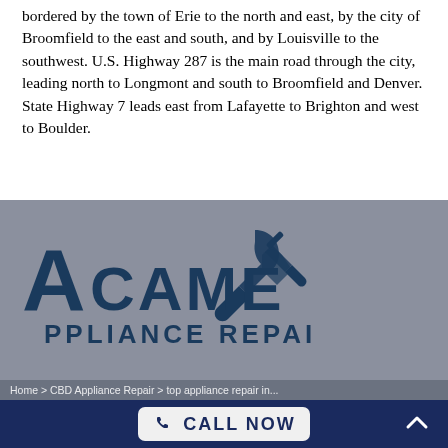bordered by the town of Erie to the north and east, by the city of Broomfield to the east and south, and by Louisville to the southwest. U.S. Highway 287 is the main road through the city, leading north to Longmont and south to Broomfield and Denver. State Highway 7 leads east from Lafayette to Brighton and west to Boulder.
[Figure (logo): Acame Appliance Repair logo with wrench and screwdriver icon, dark blue text on grey background]
Home > CBD Appliance Repair > top appliance repair in...
CALL NOW